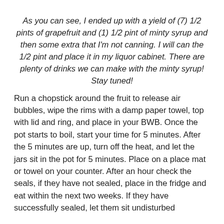As you can see, I ended up with a yield of (7) 1/2 pints of grapefruit and (1) 1/2 pint of minty syrup and then some extra that I'm not canning.  I will can the 1/2 pint and place it in my liquor cabinet.  There are plenty of drinks we can make with the minty syrup!  Stay tuned!
Run a chopstick around the fruit to release air bubbles, wipe the rims with a damp paper towel, top with lid and ring, and place in your BWB.  Once the pot starts to boil, start your time for 5 minutes.  After the 5 minutes are up, turn off the heat, and let the jars sit in the pot for 5 minutes.  Place on a place mat or towel on your counter.  After an hour check the seals, if they have not sealed, place in the fridge and eat within the next two weeks.  If they have successfully sealed, let them sit undisturbed